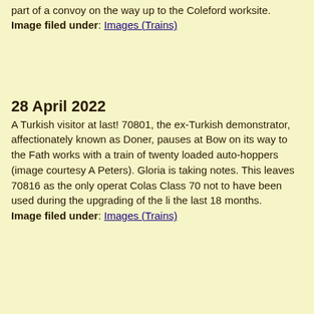part of a convoy on the way up to the Coleford worksite.
Image filed under: Images (Trains)
28 April 2022
A Turkish visitor at last! 70801, the ex-Turkish demonstrator, affectionately known as Doner, pauses at Bow on its way to the Fath works with a train of twenty loaded auto-hoppers (image courtesy A Peters). Gloria is taking notes. This leaves 70816 as the only operat Colas Class 70 not to have been used during the upgrading of the li the last 18 months.
Image filed under: Images (Trains)